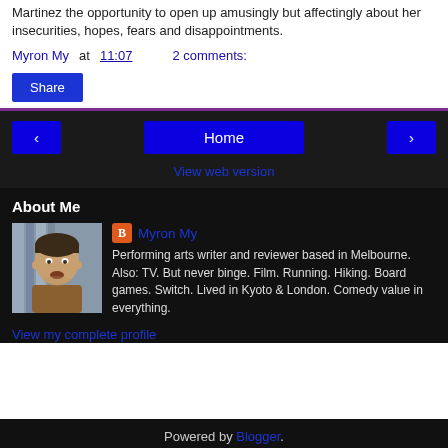Martinez the opportunity to open up amusingly but affectingly about her insecurities, hopes, fears and disappointments.
Myron My at 11:07   2 comments:
Share
< Home >
View web version
About Me
[Figure (photo): Profile photo of Myron My, a man with short dark hair, looking at the camera against a light striped background, wearing a brown/orange top.]
Myron My
Performing arts writer and reviewer based in Melbourne. Also: TV. But never binge. Film. Running. Hiking. Board games. Switch. Lived in Kyoto & London. Comedy value in everything.
View my complete profile
Powered by Blogger.